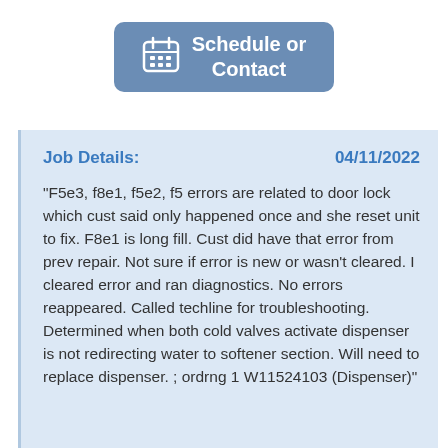[Figure (other): Blue rounded-rectangle button with calendar icon and white text reading 'Schedule or Contact']
Job Details:    04/11/2022
"F5e3, f8e1, f5e2, f5 errors are related to door lock which cust said only happened once and she reset unit to fix. F8e1 is long fill. Cust did have that error from prev repair. Not sure if error is new or wasn't cleared. I cleared error and ran diagnostics. No errors reappeared. Called techline for troubleshooting. Determined when both cold valves activate dispenser is not redirecting water to softener section. Will need to replace dispenser. ; ordrng 1 W11524103 (Dispenser)"